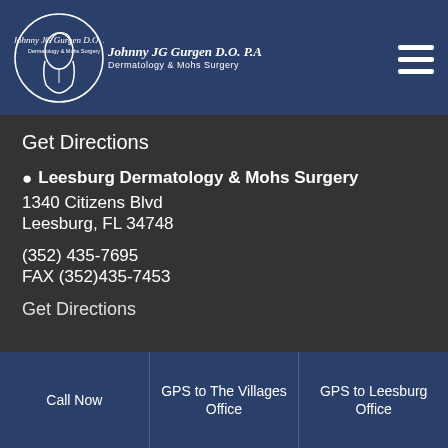Johnny JG Gurgen D.O. P.A — Dermatology & Mohs Surgery
Get Directions
Leesburg Dermatology & Mohs Surgery
1340 Citizens Blvd
Leesburg, FL 34748
(352) 435-7695
FAX (352)435-7453
Get Directions
Call Now | GPS to The Villages Office | GPS to Leesburg Office